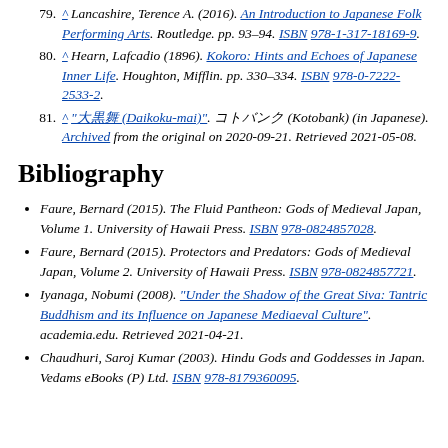79. ^ Lancashire, Terence A. (2016). An Introduction to Japanese Folk Performing Arts. Routledge. pp. 93–94. ISBN 978-1-317-18169-9.
80. ^ Hearn, Lafcadio (1896). Kokoro: Hints and Echoes of Japanese Inner Life. Houghton, Mifflin. pp. 330–334. ISBN 978-0-7222-2533-2.
81. ^ "大黒舞 (Daikoku-mai)". コトバンク (Kotobank) (in Japanese). Archived from the original on 2020-09-21. Retrieved 2021-05-08.
Bibliography
Faure, Bernard (2015). The Fluid Pantheon: Gods of Medieval Japan, Volume 1. University of Hawaii Press. ISBN 978-0824857028.
Faure, Bernard (2015). Protectors and Predators: Gods of Medieval Japan, Volume 2. University of Hawaii Press. ISBN 978-0824857721.
Iyanaga, Nobumi (2008). "Under the Shadow of the Great Siva: Tantric Buddhism and its Influence on Japanese Mediaeval Culture". academia.edu. Retrieved 2021-04-21.
Chaudhuri, Saroj Kumar (2003). Hindu Gods and Goddesses in Japan. Vedams eBooks (P) Ltd. ISBN 978-8179360095.